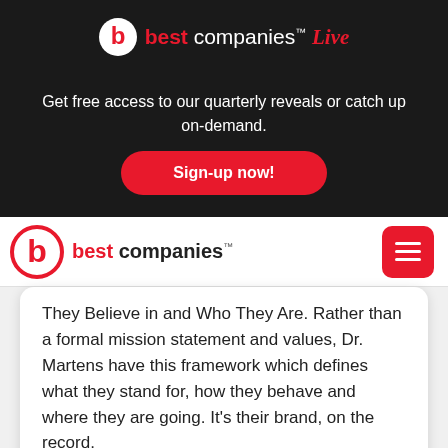[Figure (logo): Best Companies Live logo with red 'b' circle icon and 'best companies Live' text in white and red on dark background]
Get free access to our quarterly reveals or catch up on-demand.
Sign-up now!
[Figure (logo): Best Companies logo with red 'b' circle icon and 'best companies' text, navigation bar with red menu button]
They Believe in and Who They Are. Rather than a formal mission statement and values, Dr. Martens have this framework which defines what they stand for, how they behave and where they are going. It's their brand, on the record.